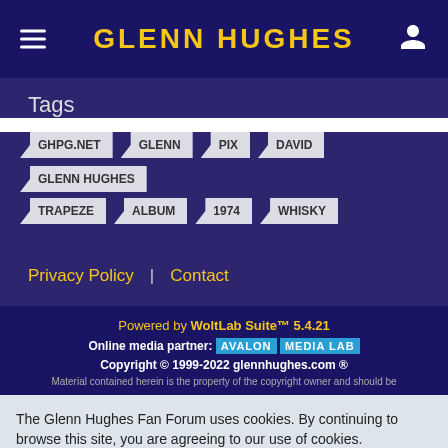GLENN HUGHES
Tags
GHPG.NET
GLENN
PIX
DAVID
GLENN HUGHES
TRAPEZE
ALBUM
1974
WHISKY
Privacy Policy   Contact
Powered by WoltLab Suite™ 5.4.21
Online media partner: AVALON MEDIA LAB
Copyright © 1999-2022 glennhughes.com ®
Material contained herein is the property of the copyright owner and should be
The Glenn Hughes Fan Forum uses cookies. By continuing to browse this site, you are agreeing to our use of cookies.